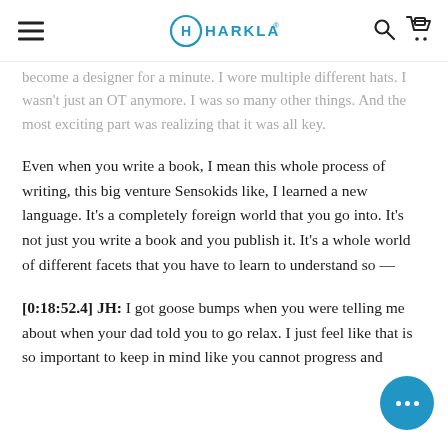HARKLA
become a designer for a minute. I wore multiple different hats. I wasn't just an OT anymore. I was so many other things. And the most exciting part was realizing that it was all key.
Even when you write a book, I mean this whole process of writing, this big venture Sensokids like, I learned a new language. It’s a completely foreign world that you go into. It’s not just you write a book and you publish it. It’s a whole world of different facets that you have to learn to understand so —
[0:18:52.4] JH: I got goose bumps when you were telling me about when your dad told you to go relax. I just feel like that is so important to keep in mind like you cannot progress and